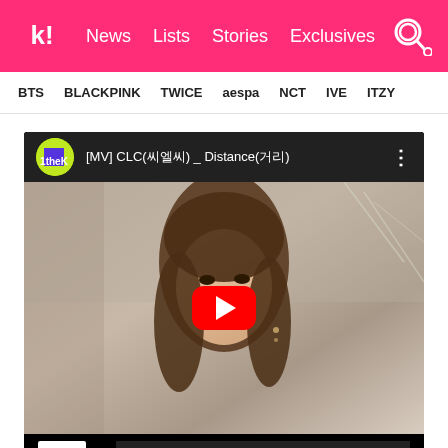Koreaboo — News | Lists | Stories | Exclusives
BTS  BLACKPINK  TWICE  aespa  NCT  IVE  ITZY
[Figure (screenshot): Embedded YouTube video player showing [MV] CLC(씨엘씨) _ Distance(거리) by 1theK, with a thumbnail of a young woman with long brown hair and a red YouTube play button overlay. Bottom of player shows 1theK OFFICIAL branding on black background.]